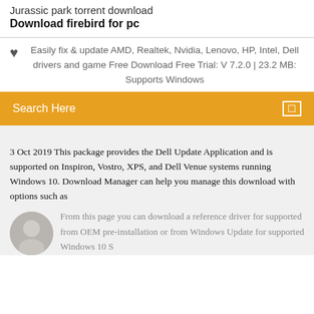Jurassic park torrent download
Download firebird for pc
Easily fix & update AMD, Realtek, Nvidia, Lenovo, HP, Intel, Dell drivers and game Free Download Free Trial: V 7.2.0 | 23.2 MB: Supports Windows
Search Here
3 Oct 2019 This package provides the Dell Update Application and is supported on Inspiron, Vostro, XPS, and Dell Venue systems running Windows 10. Download Manager can help you manage this download with options such as
From this page you can download a reference driver for supported from OEM pre-installation or from Windows Update for supported Windows 10 S